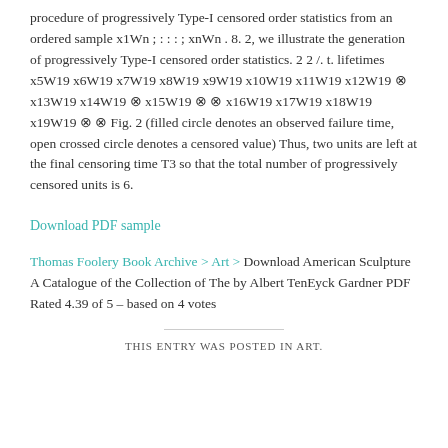procedure of progressively Type-I censored order statistics from an ordered sample x1Wn ; : : : ; xnWn . 8. 2, we illustrate the generation of progressively Type-I censored order statistics. 2 2 /. t. lifetimes x5W19 x6W19 x7W19 x8W19 x9W19 x10W19 x11W19 x12W19 ⊗ x13W19 x14W19 ⊗ x15W19 ⊗ ⊗ x16W19 x17W19 x18W19 x19W19 ⊗ ⊗ Fig. 2 (filled circle denotes an observed failure time, open crossed circle denotes a censored value) Thus, two units are left at the final censoring time T3 so that the total number of progressively censored units is 6.
Download PDF sample
Thomas Foolery Book Archive > Art > Download American Sculpture A Catalogue of the Collection of The by Albert TenEyck Gardner PDF
Rated 4.39 of 5 – based on 4 votes
THIS ENTRY WAS POSTED IN ART.